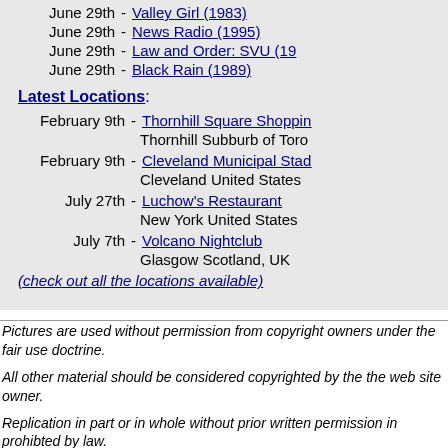June 29th  -  Valley Girl (1983)
June 29th  -  News Radio (1995)
June 29th  -  Law and Order: SVU (19...)
June 29th  -  Black Rain (1989)
Latest Locations:
February 9th  -  Thornhill Square Shoppin...
Thornhill Subburb of Toro...
February 9th  -  Cleveland Municipal Stad...
Cleveland United States
July 27th  -  Luchow's Restaurant
New York United States
July 7th  -  Volcano Nightclub
Glasgow Scotland, UK
(check out all the locations available)
Pictures are used without permission from copyright owners under the fair use doctrine.
All other material should be considered copyrighted by the the web site owner.
Replication in part or in whole without prior written permission in prohibted by law.
Copyright 2004-2012 by Charles R. Grosvenor Jr.